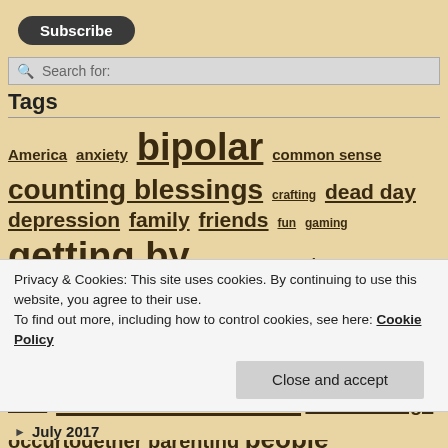[Figure (other): Subscribe button (dark rounded pill button)]
[Figure (other): Search bar with magnifying glass icon and 'Search for:' placeholder]
Tags
America anxiety bipolar common sense counting blessings crafting dead day depression family friends fun gaming getting by good things growing up health holy crap home important things internet in the news it's tradition life me media meds mental health mental image occurytogether parenting people
Privacy & Cookies: This site uses cookies. By continuing to use this website, you agree to their use.
To find out more, including how to control cookies, see here: Cookie Policy
[Figure (other): Close and accept button]
July 2017